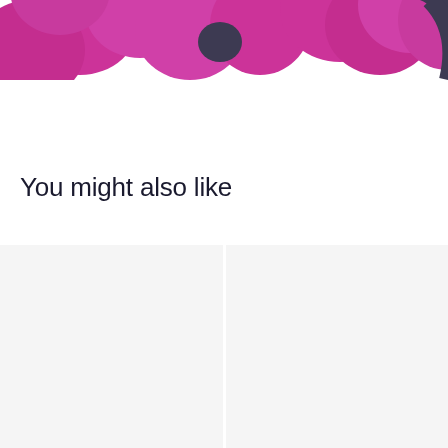[Figure (illustration): Top portion of a colorful floral illustration with large magenta/purple flower petals and an orange center with dark core, partially cropped at the top of the page. Dark navy blue curved shape visible at right edge.]
You might also like
[Figure (other): Two side-by-side light gray rectangular placeholder cards for product recommendations, separated by a white vertical gap.]